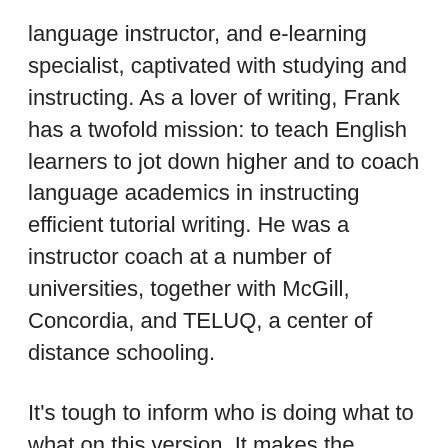language instructor, and e-learning specialist, captivated with studying and instructing. As a lover of writing, Frank has a twofold mission: to teach English learners to jot down higher and to coach language academics in instructing efficient tutorial writing. He was a instructor coach at a number of universities, together with McGill, Concordia, and TELUQ, a center of distance schooling.
It's tough to inform who is doing what to what on this version. It makes the reader surprise 'who?' It's as if the cover of the pot was magically removed and replaced, and we can not really inform that the Little Pig was the one responsible frank ohara poems for defeating the Wolf. Though it is generally